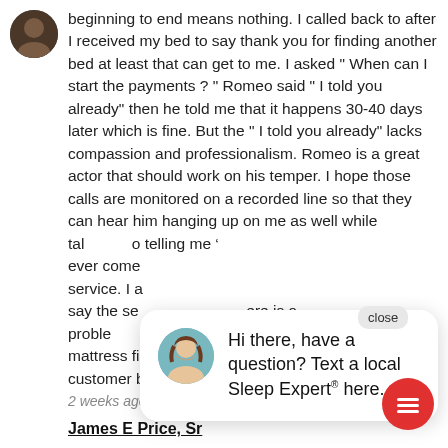[Figure (photo): User avatar photo of a person]
beginning to end means nothing. I called back to after I received my bed to say thank you for finding another bed at least that can get to me. I asked “ When can I start the payments ? “ Romeo said “ I told you already” then he told me that it happens 30-40 days later which is fine. But the “ I told you already” lacks compassion and professionalism. Romeo is a great actor that should work on his temper. I hope those calls are monitored on a recorded line so that they can hear him hanging up on me as well while tal  o telling me ever come  service. I a  say the se  ere is a proble  g “BRO”. It w  mattress firm in the future. I’ve been a long te  customer but this is pathetic.
2 weeks ago
[Figure (photo): Chat popup with female avatar and message: Hi there, have a question? Text a local Sleep Expert® here.]
close
Hi there, have a question? Text a local Sleep Expert® here.
James E Price, Sr